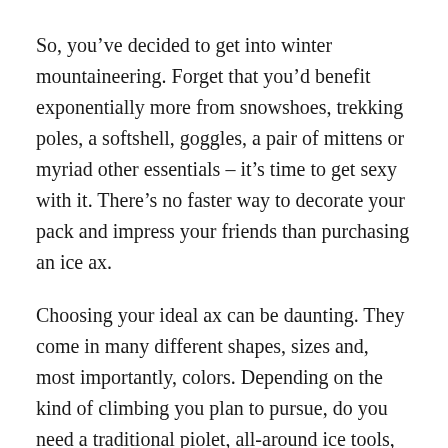So, you've decided to get into winter mountaineering. Forget that you'd benefit exponentially more from snowshoes, trekking poles, a softshell, goggles, a pair of mittens or myriad other essentials – it's time to get sexy with it. There's no faster way to decorate your pack and impress your friends than purchasing an ice ax.
Choosing your ideal ax can be daunting. They come in many different shapes, sizes and, most importantly, colors. Depending on the kind of climbing you plan to pursue, do you need a traditional piolet, all-around ice tools, wickedly curved mixed tools, or a highly specialized hybrid? The answer is almost assuredly some sort of combination. It took me three years and a few wasted Benjamins to arrive at my ideal quiver, and now that I have a decent grasp on the ins and outs of the ice ax market, here's a gentle rundown of what's out